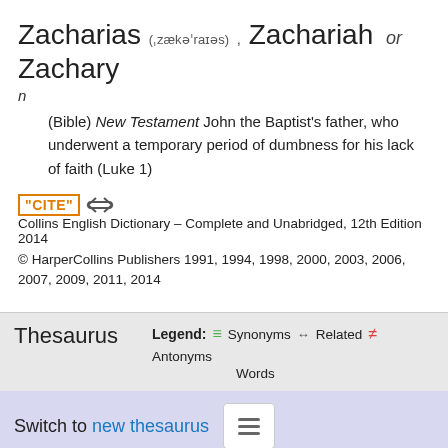Zacharias (ˌzækəˈraɪəs) , Zachariah or Zachary
n
(Bible) New Testament John the Baptist's father, who underwent a temporary period of dumbness for his lack of faith (Luke 1)
"CITE" [link icon] Collins English Dictionary – Complete and Unabridged, 12th Edition 2014 © HarperCollins Publishers 1991, 1994, 1998, 2000, 2003, 2006, 2007, 2009, 2011, 2014
Thesaurus
Legend: ≡ Synonyms ↔ Related ≠ Antonyms Words
Switch to new thesaurus